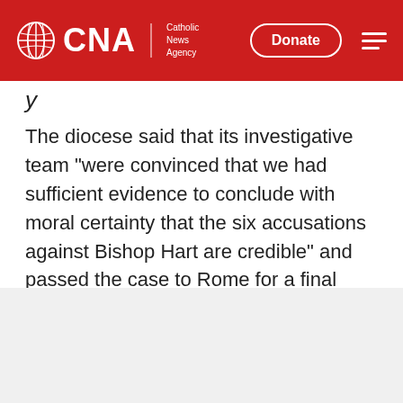CNA Catholic News Agency | Donate
y
The diocese said that its investigative team "were convinced that we had sufficient evidence to conclude with moral certainty that the six accusations against Bishop Hart are credible" and passed the case to Rome for a final decision in the canonical process.